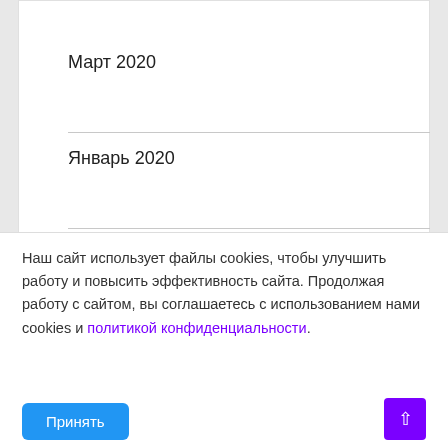Март 2020
Январь 2020
Май 2016
[Figure (other): Purple navigation bar partially visible]
Наш сайт использует файлы cookies, чтобы улучшить работу и повысить эффективность сайта. Продолжая работу с сайтом, вы соглашаетесь с использованием нами cookies и политикой конфиденциальности.